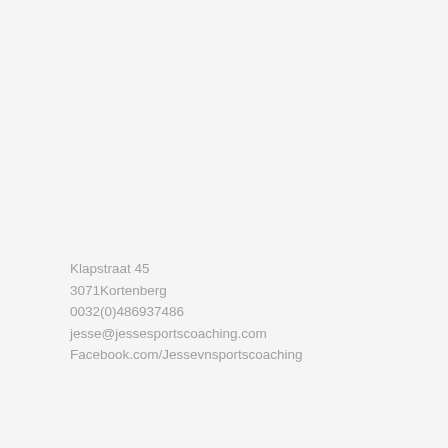Klapstraat 45
3071Kortenberg

0032(0)486937486

jesse@jessesportscoaching.com
Facebook.com/Jessevnsportscoaching